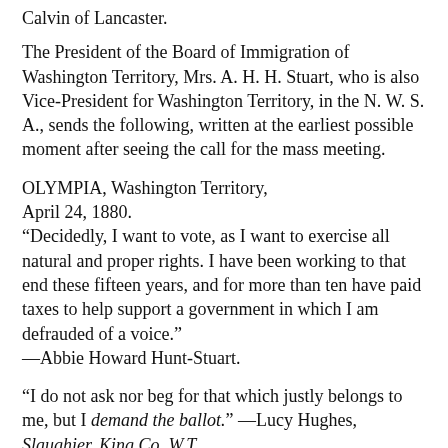Calvin of Lancaster.
The President of the Board of Immigration of Washington Territory, Mrs. A. H. H. Stuart, who is also Vice-President for Washington Territory, in the N. W. S. A., sends the following, written at the earliest possible moment after seeing the call for the mass meeting.
OLYMPIA, Washington Territory,
April 24, 1880.
"Decidedly, I want to vote, as I want to exercise all natural and proper rights. I have been working to that end these fifteen years, and for more than ten have paid taxes to help support a government in which I am defrauded of a voice."
—Abbie Howard Hunt-Stuart.
"I do not ask nor beg for that which justly belongs to me, but I demand the ballot." —Lucy Hughes, Slaughier, King Co. W.T.
Joanna Boyde also “demands” the ballot.
The Republican Congress has passed a bill, and before it is